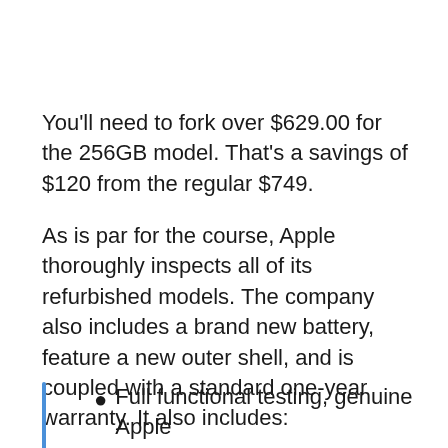You'll need to fork over $629.00 for the 256GB model. That's a savings of $120 from the regular $749.
As is par for the course, Apple thoroughly inspects all of its refurbished models. The company also includes a brand new battery, feature a new outer shell, and is coupled with a standard one-year warranty. It also includes:
Full functional testing, genuine Apple part replacements (if necessary), and a thorough cleaning...